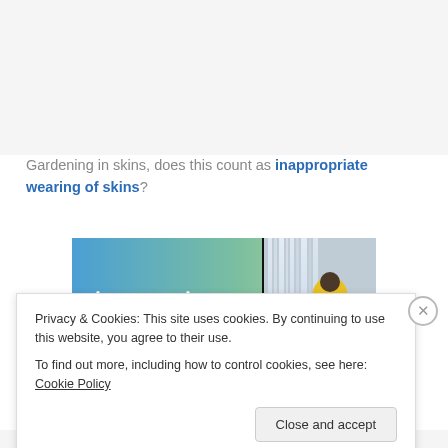Gardening in skins, does this count as inappropriate wearing of skins?
[Figure (illustration): Advertisement banner with text 'immersive stories.' on a blue-green gradient background, with a person in a yellow jacket near a waterfall on the right side.]
Privacy & Cookies: This site uses cookies. By continuing to use this website, you agree to their use.
To find out more, including how to control cookies, see here: Cookie Policy
Close and accept